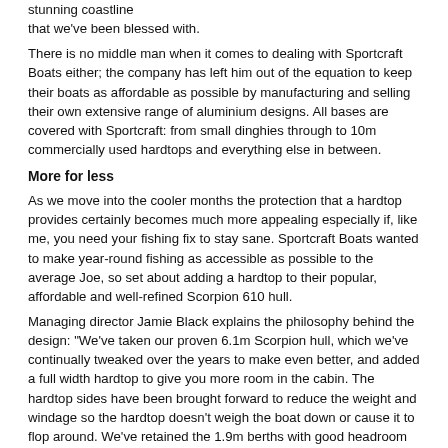stunning coastline that we've been blessed with.
There is no middle man when it comes to dealing with Sportcraft Boats either; the company has left him out of the equation to keep their boats as affordable as possible by manufacturing and selling their own extensive range of aluminium designs. All bases are covered with Sportcraft: from small dinghies through to 10m commercially used hardtops and everything else in between.
More for less
As we move into the cooler months the protection that a hardtop provides certainly becomes much more appealing especially if, like me, you need your fishing fix to stay sane. Sportcraft Boats wanted to make year-round fishing as accessible as possible to the average Joe, so set about adding a hardtop to their popular, affordable and well-refined Scorpion 610 hull.
Managing director Jamie Black explains the philosophy behind the design: "We've taken our proven 6.1m Scorpion hull, which we've continually tweaked over the years to make even better, and added a full width hardtop to give you more room in the cabin. The hardtop sides have been brought forward to reduce the weight and windage so the hardtop doesn't weigh the boat down or cause it to flop around. We've retained the 1.9m berths with good headroom in the cabin so even taller people can sit or lie down without smacking their head, and it's actually got more room in there than some of our bigger hardtops, which our long legged customers really like.
"It's also nice and wide giving it good stability and there's ample room in the back for fishing. It would have to be the best value buying hardtop on the market. It's basically a good all-round boat for doing a bit of everything with, allowing you to expand you're boating opportunities while still remaining easy to tow," adds Black.
Versatility plus
While the Scorpion 610 Hardtop lends itself more towards a capable all-round fishing platform, if you don't want to call it a day, the full length berths with